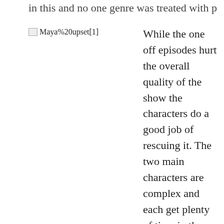in this and no one genre was treated with proper respect.
[Figure (photo): Broken image placeholder labeled Maya%20upset[1]]
While the one off episodes hurt the overall quality of the show the characters do a good job of rescuing it. The two main characters are complex and each get plenty of time in the series for their stories to be explored and it brings a human element to the jumbled narrative. The time traveler, Fumiaki Uchida, is forced to face himself in a past where he has no utility over his life, having his physic ability exploited for profit by his mother. This adds a compelling element as Uchida has to confront his demons